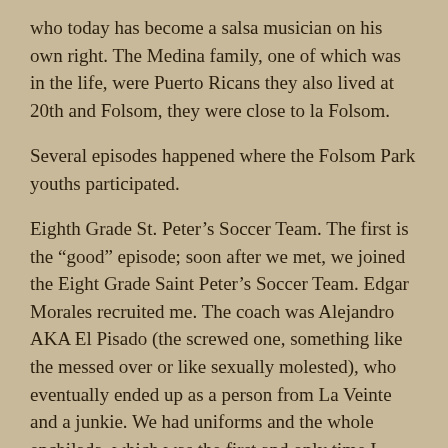who today has become a salsa musician on his own right. The Medina family, one of which was in the life, were Puerto Ricans they also lived at 20th and Folsom, they were close to la Folsom.
Several episodes happened where the Folsom Park youths participated.
Eighth Grade St. Peter’s Soccer Team. The first is the “good” episode; soon after we met, we joined the Eight Grade Saint Peter’s Soccer Team. Edgar Morales recruited me. The coach was Alejandro AKA El Pisado (the screwed one, something like the messed over or like sexually molested), who eventually ended up as a person from La Veinte and a junkie. We had uniforms and the whole enchilada, which was the first and only time I participated in a formal sports team. From here on it was the